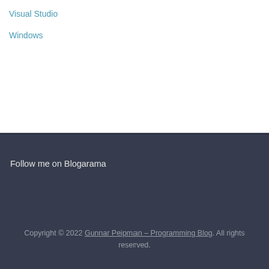Visual Studio
Windows
Follow me on Blogarama
Copyright © 2022 Gunnar Peipman – Programming Blog. All rights reserved.